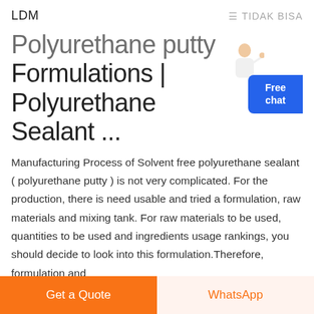LDM   ≡ TIDAK BISA
Polyurethane putty Formulations | Polyurethane Sealant ...
Manufacturing Process of Solvent free polyurethane sealant ( polyurethane putty ) is not very complicated. For the production, there is need usable and tried a formulation, raw materials and mixing tank. For raw materials to be used, quantities to be used and ingredients usage rankings, you should decide to look into this formulation.Therefore, formulation and
[Figure (illustration): Person in white coat with headset, customer service figure next to blue Free chat button]
Free chat
Get a Quote
WhatsApp